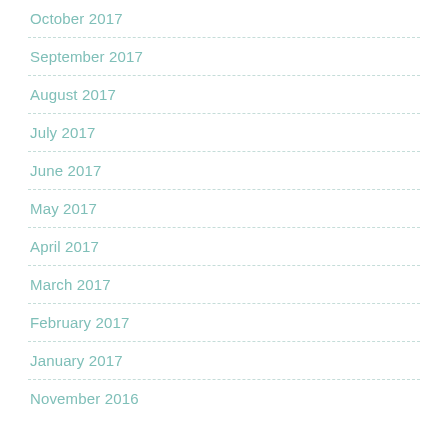October 2017
September 2017
August 2017
July 2017
June 2017
May 2017
April 2017
March 2017
February 2017
January 2017
November 2016